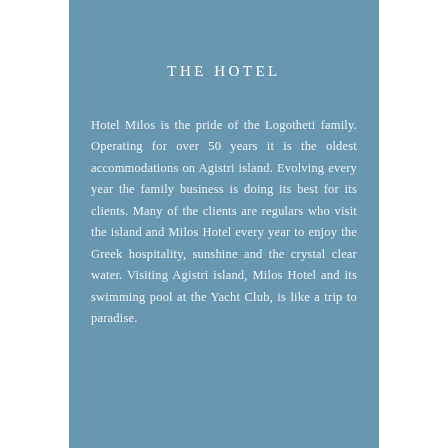THE HOTEL
Hotel Milos is the pride of the Logotheti family. Operating for over 50 years it is the oldest accommodations on Agistri island. Evolving every year the family business is doing its best for its clients. Many of the clients are regulars who visit the island and Milos Hotel every year to enjoy the Greek hospitality, sunshine and the crystal clear water. Visiting Agistri island, Milos Hotel and its swimming pool at the Yacht Club, is like a trip to paradise.